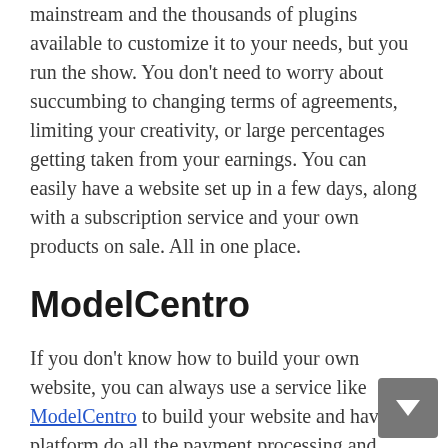mainstream and the thousands of plugins available to customize it to your needs, but you run the show. You don't need to worry about succumbing to changing terms of agreements, limiting your creativity, or large percentages getting taken from your earnings. You can easily have a website set up in a few days, along with a subscription service and your own products on sale. All in one place.
ModelCentro
If you don't know how to build your own website, you can always use a service like ModelCentro to build your website and have the platform do all the payment processing and hosting for you. Not only do you have your own domain name, but you can also...